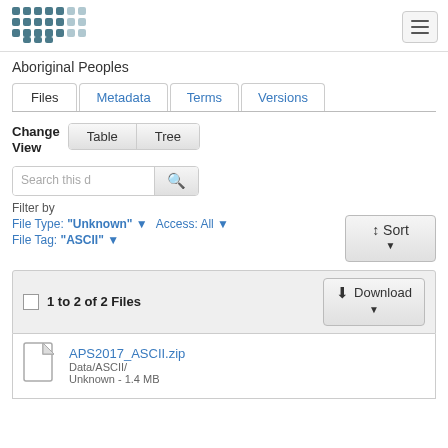[Figure (logo): Abacus logo with grid dots pattern and 'abacus' text]
Aboriginal Peoples
Files | Metadata | Terms | Versions
Change View  Table  Tree
Search this d
Filter by
File Type: "Unknown" ▾   Access: All ▾
File Tag: "ASCII" ▾
⇅ Sort ▾
1 to 2 of 2 Files
⬇ Download ▾
APS2017_ASCII.zip
Data/ASCII/
Unknown - 1.4 MB